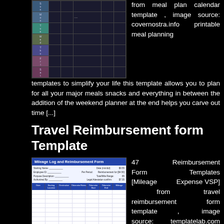[Figure (screenshot): Meal planning calendar template screenshot showing a weekly planner with row labels and grid cells, image source: covernostra.info]
from meal plan calendar template , image source: covernostra.info printable meal planning templates to simplify your life this template allows you to plan for all your major meals snacks and everything in between the addition of the weekend planner at the end helps you carve out time [...]
Travel Reimbursement form Template
[Figure (screenshot): Mileage Log and Reimbursement Form screenshot showing form fields for employee info, date, starting location, destination, odometer readings, and mileage columns]
47 Reimbursement Form Templates [Mileage Expense VSP] from travel reimbursement form template , image source: templatelab.com travel expense reimbursement form excel template travel expense